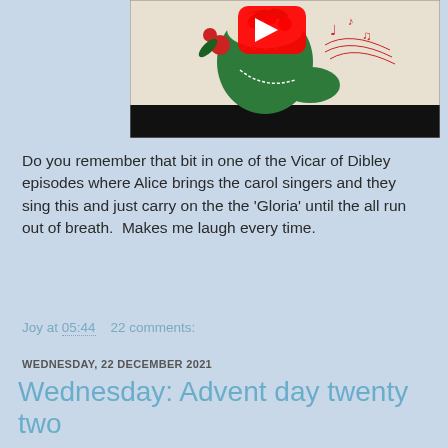[Figure (screenshot): YouTube video thumbnail showing a vintage Christmas illustration with a green boot/bell decorated with holly and red berries, and musical notes in red. A YouTube play button overlay is visible in the upper center. Below the illustration is a black letterbox bar.]
Do you remember that bit in one of the Vicar of Dibley episodes where Alice brings the carol singers and they sing this and just carry on the the 'Gloria' until the all run out of breath.  Makes me laugh every time.
Joy at 05:44    22 comments:
WEDNESDAY, 22 DECEMBER 2021
Wednesday: Advent day twenty two
Morning!!  What a cold night!!  For round here, anyway.  Of